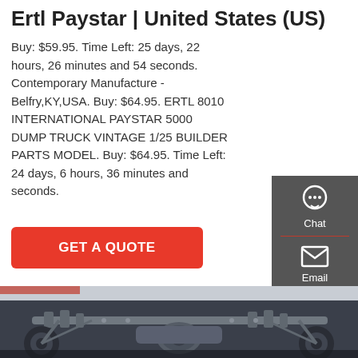Ertl Paystar | United States (US)
Buy: $59.95. Time Left: 25 days, 22 hours, 26 minutes and 54 seconds. Contemporary Manufacture - Belfry,KY,USA. Buy: $64.95. ERTL 8010 INTERNATIONAL PAYSTAR 5000 DUMP TRUCK VINTAGE 1/25 BUILDER PARTS MODEL. Buy: $64.95. Time Left: 24 days, 6 hours, 36 minutes and seconds.
[Figure (other): GET A QUOTE red call-to-action button]
[Figure (other): Sidebar with Chat, Email, and Contact icons on dark grey background]
[Figure (photo): Underside/undercarriage view of a large truck, showing axle, suspension, wheels and mechanical components in grey tones]